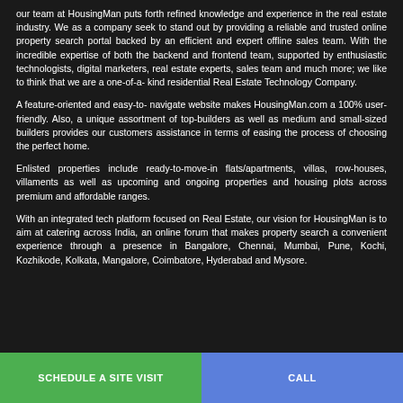our team at HousingMan puts forth refined knowledge and experience in the real estate industry. We as a company seek to stand out by providing a reliable and trusted online property search portal backed by an efficient and expert offline sales team. With the incredible expertise of both the backend and frontend team, supported by enthusiastic technologists, digital marketers, real estate experts, sales team and much more; we like to think that we are a one-of-a- kind residential Real Estate Technology Company.
A feature-oriented and easy-to- navigate website makes HousingMan.com a 100% user-friendly. Also, a unique assortment of top-builders as well as medium and small-sized builders provides our customers assistance in terms of easing the process of choosing the perfect home.
Enlisted properties include ready-to-move-in flats/apartments, villas, row-houses, villaments as well as upcoming and ongoing properties and housing plots across premium and affordable ranges.
With an integrated tech platform focused on Real Estate, our vision for HousingMan is to aim at catering across India, an online forum that makes property search a convenient experience through a presence in Bangalore, Chennai, Mumbai, Pune, Kochi, Kozhikode, Kolkata, Mangalore, Coimbatore, Hyderabad and Mysore.
SCHEDULE A SITE VISIT | CALL